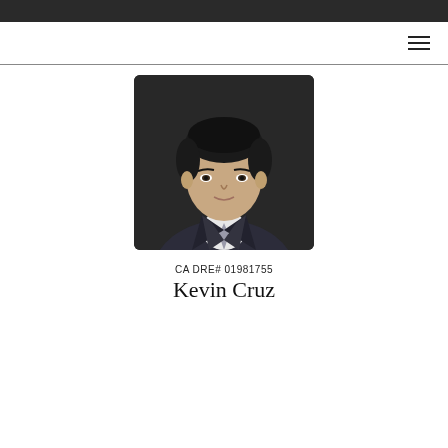[Figure (photo): Professional headshot of Kevin Cruz, a man in a dark suit with a tie, against a dark background]
CA DRE# 01981755
Kevin Cruz